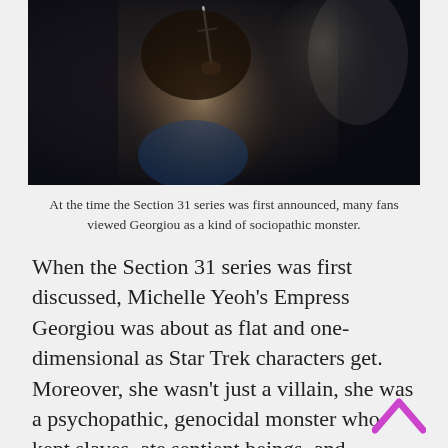[Figure (photo): Dark photo of a woman (Michelle Yeoh as Empress Georgiou) holding what appears to be a small sword or dagger up near her face, with another figure in the background, dimly lit scene.]
At the time the Section 31 series was first announced, many fans viewed Georgiou as a kind of sociopathic monster.
When the Section 31 series was first discussed, Michelle Yeoh’s Empress Georgiou was about as flat and one-dimensional as Star Trek characters get. Moreover, she wasn’t just a villain, she was a psychopathic, genocidal monster who kept slaves, ate sentient beings, and seemed to revel in torture, violence, and death. Even for an organisation as roguish and off-the-books as Section 31, Empress Georgiou